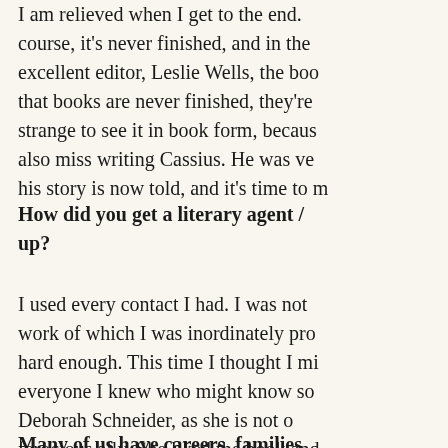I am relieved when I get to the end. Of course, it's never finished, and in the end my excellent editor, Leslie Wells, the book— that books are never finished, they're— strange to see it in book form, because— also miss writing Cassius. He was ve— his story is now told, and it's time to m—
How did you get a literary agent / up?
I used every contact I had. I was not— work of which I was inordinately pro— hard enough. This time I thought I mi— everyone I knew who might know so— Deborah Schneider, as she is not o— ferocious ally. She liked the book and— into the endzone with publishers. E— someone like her on their side.
Many of us have careers, families—